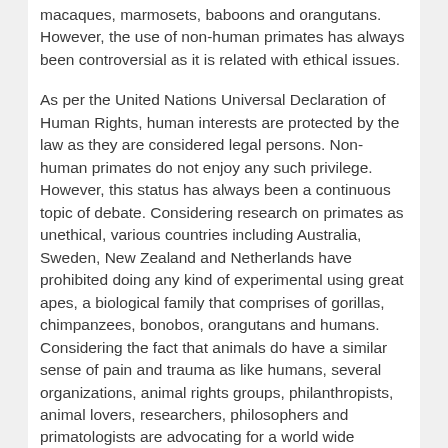macaques, marmosets, baboons and orangutans. However, the use of non-human primates has always been controversial as it is related with ethical issues.
As per the United Nations Universal Declaration of Human Rights, human interests are protected by the law as they are considered legal persons. Non-human primates do not enjoy any such privilege. However, this status has always been a continuous topic of debate. Considering research on primates as unethical, various countries including Australia, Sweden, New Zealand and Netherlands have prohibited doing any kind of experimental using great apes, a biological family that comprises of gorillas, chimpanzees, bonobos, orangutans and humans. Considering the fact that animals do have a similar sense of pain and trauma as like humans, several organizations, animal rights groups, philanthropists, animal lovers, researchers, philosophers and primatologists are advocating for a world wide prohibition over the use of primates in research.